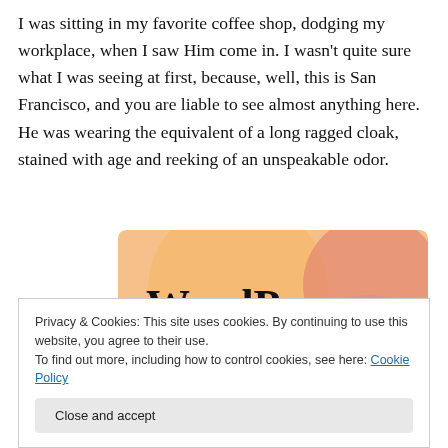I was sitting in my favorite coffee shop, dodging my workplace, when I saw Him come in. I wasn't quite sure what I was seeing at first, because, well, this is San Francisco, and you are liable to see almost anything here. He was wearing the equivalent of a long ragged cloak, stained with age and reeking of an unspeakable odor.
[Figure (illustration): Colorful graphic with peach/orange and pink/mauve overlapping circles on a light orange background, with bold black text reading 'WordPress in the back.']
Privacy & Cookies: This site uses cookies. By continuing to use this website, you agree to their use.
To find out more, including how to control cookies, see here: Cookie Policy